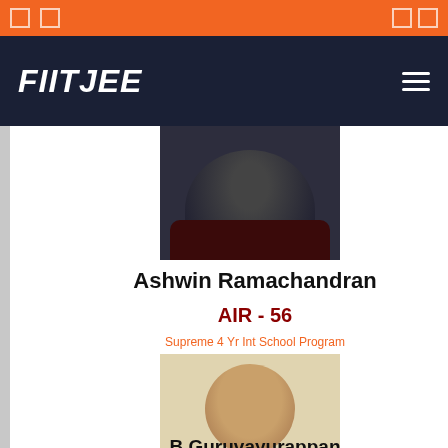FIITJEE
Ashwin Ramachandran
AIR - 56
Supreme 4 Yr Int School Program
[Figure (photo): Student passport photo of Ashwin Ramachandran]
B.Guruvayurappan